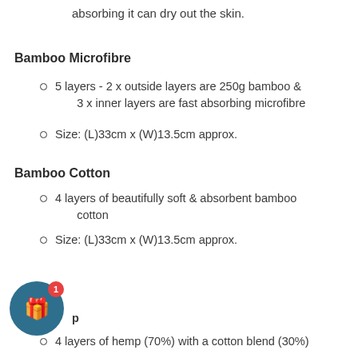absorbing it can dry out the skin.
Bamboo Microfibre
5 layers - 2 x outside layers are 250g bamboo & 3 x inner layers are fast absorbing microfibre
Size: (L)33cm x (W)13.5cm approx.
Bamboo Cotton
4 layers of beautifully soft & absorbent bamboo cotton
Size: (L)33cm x (W)13.5cm approx.
4 layers of hemp (70%) with a cotton blend (30%)